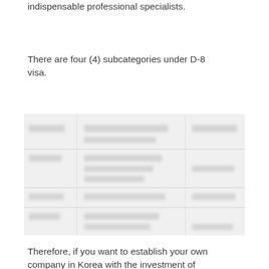indispensable professional specialists.
There are four (4) subcategories under D-8 visa.
[Figure (table-as-image): Blurred/redacted table showing subcategories under D-8 visa with multiple rows and columns, content not legible.]
Therefore, if you want to establish your own company in Korea with the investment of KRW 100 million or more